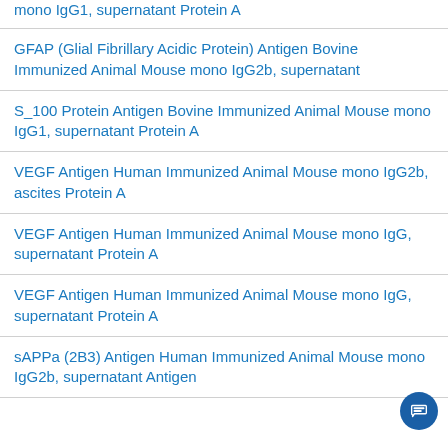mono IgG1, supernatant Protein A
GFAP (Glial Fibrillary Acidic Protein) Antigen Bovine Immunized Animal Mouse mono IgG2b, supernatant
S_100 Protein Antigen Bovine Immunized Animal Mouse mono IgG1, supernatant Protein A
VEGF Antigen Human Immunized Animal Mouse mono IgG2b, ascites Protein A
VEGF Antigen Human Immunized Animal Mouse mono IgG, supernatant Protein A
VEGF Antigen Human Immunized Animal Mouse mono IgG, supernatant Protein A
sAPPa (2B3) Antigen Human Immunized Animal Mouse mono IgG2b, supernatant Antigen